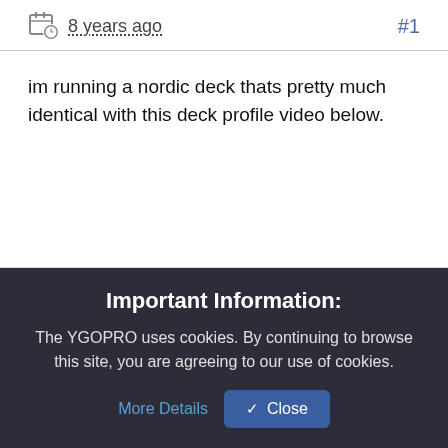8 years ago   #1
im running a nordic deck thats pretty much identical with this deck profile video below.
Important Information:
The YGOPRO uses cookies. By continuing to browse this site, you are agreeing to our use of cookies.  More Details   Close